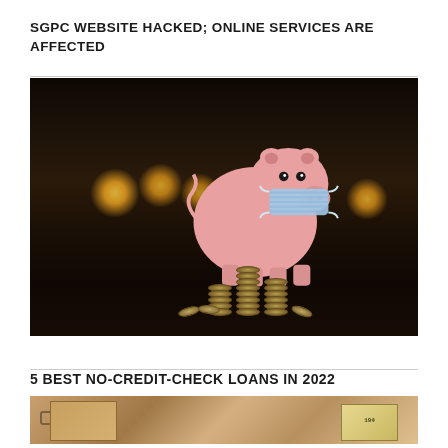SGPC WEBSITE HACKED; ONLINE SERVICES ARE AFFECTED
[Figure (photo): Pink piggy bank wearing a blue surgical face mask, surrounded by stacked coins on a dark surface with blurred candles in the background]
5 BEST NO-CREDIT-CHECK LOANS IN 2022
[Figure (photo): Close-up of financial items including what appears to be a cash box or safe with money/documents, warm golden-brown toned image]